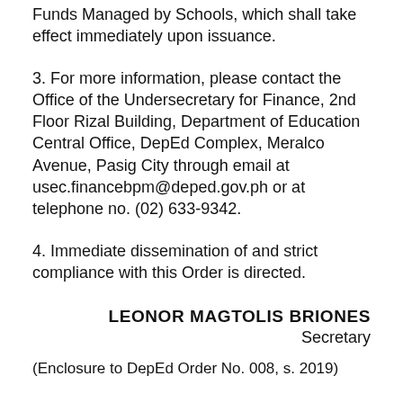Funds Managed by Schools, which shall take effect immediately upon issuance.
3. For more information, please contact the Office of the Undersecretary for Finance, 2nd Floor Rizal Building, Department of Education Central Office, DepEd Complex, Meralco Avenue, Pasig City through email at usec.financebpm@deped.gov.ph or at telephone no. (02) 633-9342.
4. Immediate dissemination of and strict compliance with this Order is directed.
LEONOR MAGTOLIS BRIONES
Secretary
(Enclosure to DepEd Order No. 008, s. 2019)